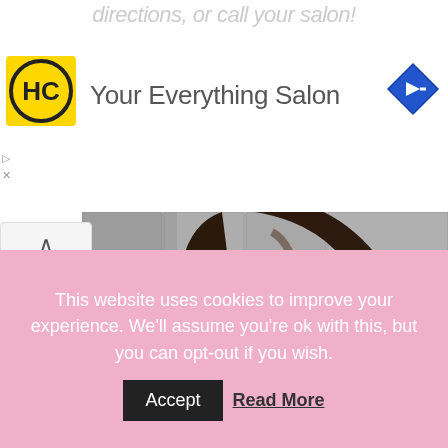directions, or call your salon!
[Figure (logo): HC logo — yellow square with black circle border and 'HC' text inside]
[Figure (other): Blue diamond navigation/directions icon with right-arrow]
Your Everything Salon
[Figure (photo): Young woman with long dark wavy hair wearing a white blouse with pink lip prints, posing sideways with red lipstick, against a stone wall background]
This website uses cookies to improve your experience. We'll assume you're ok with this, but you can opt-out if you wish.
Accept  Read More